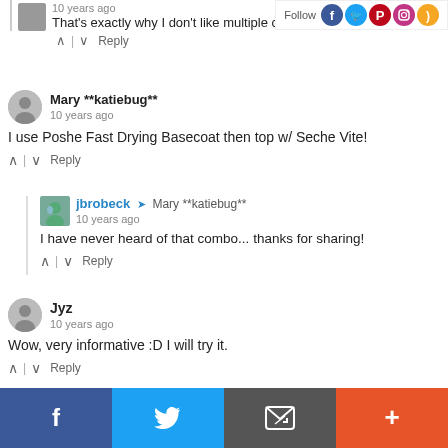That's exactly why I don't like multiple coats - so
[Figure (screenshot): Social media follow icons (Facebook, Twitter, Pinterest, Instagram, RSS) with Follow text]
10 years ago | Reply (vote up/down)
Mary **katiebug**
10 years ago
I use Poshe Fast Drying Basecoat then top w/ Seche Vite!
10 years ago | Reply (vote up/down)
jbrobeck → Mary **katiebug**
10 years ago
I have never heard of that combo... thanks for sharing!
10 years ago | Reply (vote up/down)
Jyz
10 years ago
Wow, very informative :D I will try it.
10 years ago | Reply (vote up/down)
jbrobeck → Jyz
[Figure (screenshot): Bottom social sharing bar with Facebook, Twitter, Email/save, and More (+) buttons]